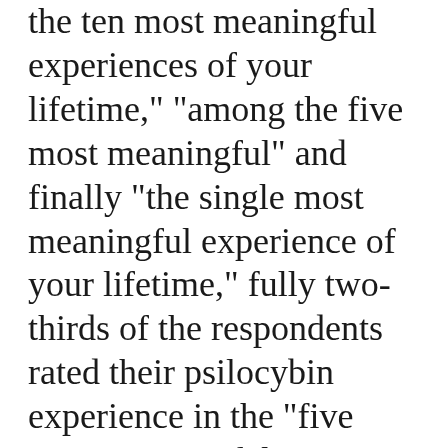the ten most meaningful experiences of your lifetime," "among the five most meaningful" and finally "the single most meaningful experience of your lifetime," fully two-thirds of the respondents rated their psilocybin experience in the "five most meaningful" or "single most meaningful" categories, and none ranked